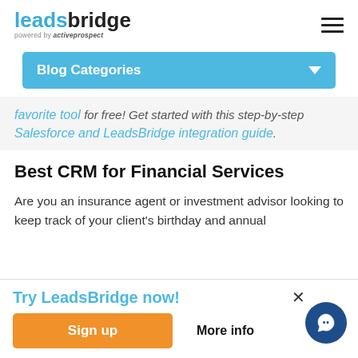leadsbridge powered by activeprospect
Blog Categories
favorite tool for free! Get started with this step-by-step Salesforce and LeadsBridge integration guide.
Best CRM for Financial Services
Are you an insurance agent or investment advisor looking to keep track of your client's birthday and annual
Try LeadsBridge now!
Sign up
More info